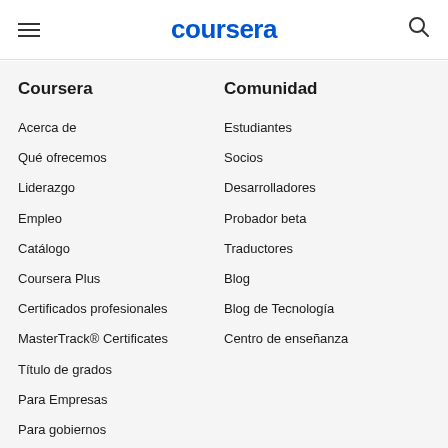coursera
Coursera
Acerca de
Qué ofrecemos
Liderazgo
Empleo
Catálogo
Coursera Plus
Certificados profesionales
MasterTrack® Certificates
Título de grados
Para Empresas
Para gobiernos
Para el campus
Conviértete en socio
Comunidad
Estudiantes
Socios
Desarrolladores
Probador beta
Traductores
Blog
Blog de Tecnología
Centro de enseñanza